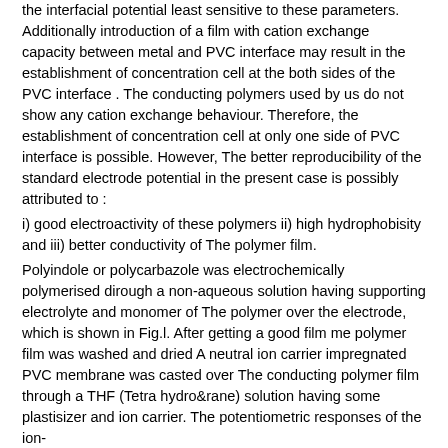the interfacial potential least sensitive to these parameters. Additionally introduction of a film with cation exchange capacity between metal and PVC interface may result in the establishment of concentration cell at the both sides of the PVC interface . The conducting polymers used by us do not show any cation exchange behaviour. Therefore, the establishment of concentration cell at only one side of PVC interface is possible. However, The better reproducibility of the standard electrode potential in the present case is possibly attributed to : i) good electroactivity of these polymers ii) high hydrophobisity and iii) better conductivity of The polymer film. Polyindole or polycarbazole was electrochemically polymerised dirough a non-aqueous solution having supporting electrolyte and monomer of The polymer over the electrode, which is shown in Fig.l. After getting a good film me polymer film was washed and dried A neutral ion carrier impregnated PVC membrane was casted over The conducting polymer film through a THF (Tetra hydro&rane) solution having some plastisizer and ion carrier. The potentiometric responses of the ion-